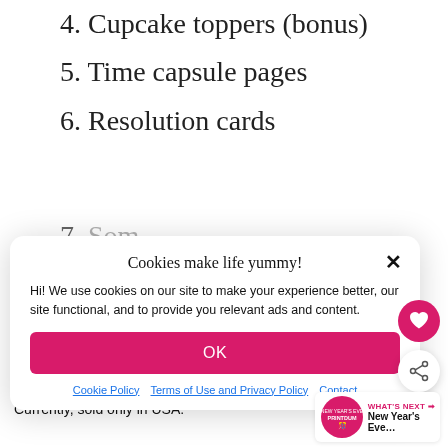4. Cupcake toppers (bonus)
5. Time capsule pages
6. Resolution cards
[Figure (screenshot): Cookie consent modal dialog with title 'Cookies make life yummy!', body text about cookies, an OK button, and links to Cookie Policy, Terms of Use and Privacy Policy, and Contact]
Digital product. 30-day money back guarantee. Currently, sold only in USA.
[Figure (infographic): WHAT'S NEXT arrow label with New Year's Eve... text and a New Year's Eve printable badge icon]